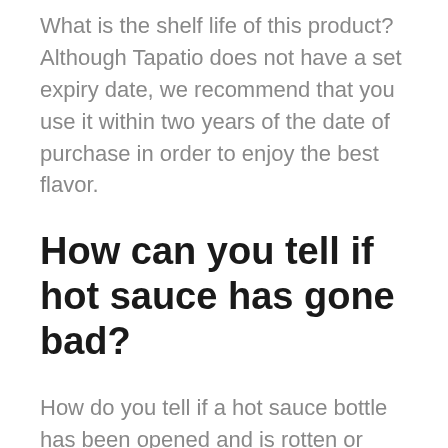What is the shelf life of this product? Although Tapatio does not have a set expiry date, we recommend that you use it within two years of the date of purchase in order to enjoy the best flavor.
How can you tell if hot sauce has gone bad?
How do you tell if a hot sauce bottle has been opened and is rotten or spoiled? Smelling and inspecting the hot sauce is the most effective method: if the hot sauce acquires an off-odor, flavor, and